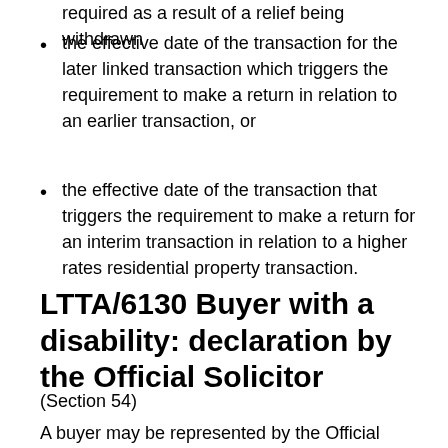required as a result of a relief being withdrawn
the effective date of the transaction for the later linked transaction which triggers the requirement to make a return in relation to an earlier transaction, or
the effective date of the transaction that triggers the requirement to make a return for an interim transaction in relation to a higher rates residential property transaction.
LTTA/6130 Buyer with a disability: declaration by the Official Solicitor
(Section 54)
A buyer may be represented by the Official